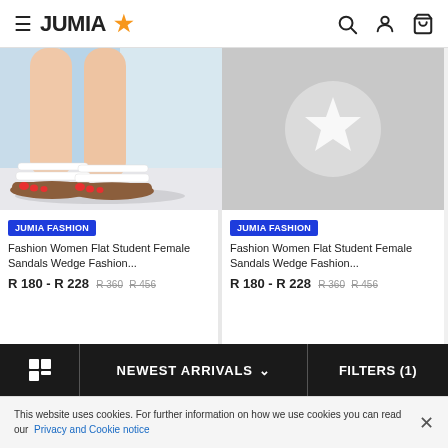JUMIA★ (header with search, account, cart icons)
[Figure (photo): Photo of white flat sandals on a woman's feet against a light blue background]
[Figure (other): Gray placeholder image with a white star/Jumia logo circle icon]
JUMIA FASHION
Fashion Women Flat Student Female Sandals Wedge Fashion...
R 180 - R 228  R 360  R 456
JUMIA FASHION
Fashion Women Flat Student Female Sandals Wedge Fashion...
R 180 - R 228  R 360  R 456
NEWEST ARRIVALS ∨   FILTERS (1)
This website uses cookies. For further information on how we use cookies you can read our Privacy and Cookie notice